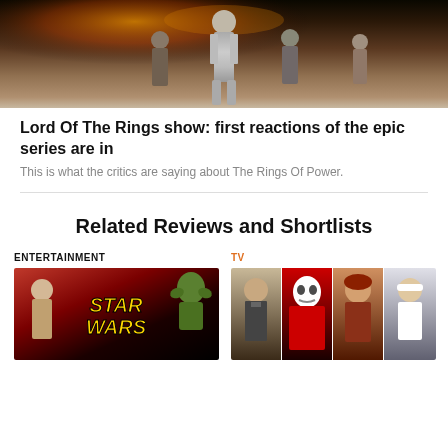[Figure (photo): Hero image showing a figure in silver/grey armor or costume from Lord of the Rings, with fire and other figures in background]
Lord Of The Rings show: first reactions of the epic series are in
This is what the critics are saying about The Rings Of Power.
Related Reviews and Shortlists
ENTERTAINMENT
[Figure (photo): Star Wars themed collage image with Star Wars logo, Princess Leia, and Yoda against red and dark background]
TV
[Figure (photo): TV show collage with four panels showing different characters from various TV shows including a man in suit, masked figure, woman with red hair, and person in white]